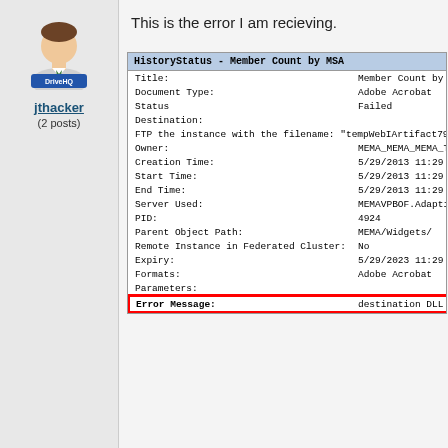[Figure (illustration): DriveHQ user avatar showing a business person icon with DriveHQ logo]
jthacker
(2 posts)
This is the error I am recieving.
| Field | Value |
| --- | --- |
| HistoryStatus - Member Count by MSA |  |
| Title: | Member Count by MSA |
| Document Type: | Adobe Acrobat |
| Status | Failed |
| Destination: |  |
| FTP the instance with the filename: "tempWebIArtifact7908723130804200937.pdf" to the directory: |  |
| Owner: | MEMA_MEMA_MEMA_TR_JTHACKER |
| Creation Time: | 5/29/2013 11:29 AM |
| Start Time: | 5/29/2013 11:29 AM |
| End Time: | 5/29/2013 11:29 AM |
| Server Used: | MEMAVPBOF.AdaptiveJobServer |
| PID: | 4924 |
| Parent Object Path: | MEMA/Widgets/ |
| Remote Instance in Federated Cluster: | No |
| Expiry: | 5/29/2023 11:29 AM |
| Formats: | Adobe Acrobat |
| Parameters: |  |
| Error Message: | destination DLL disabled. {}: {CrystalEnterprise.Ftp} |